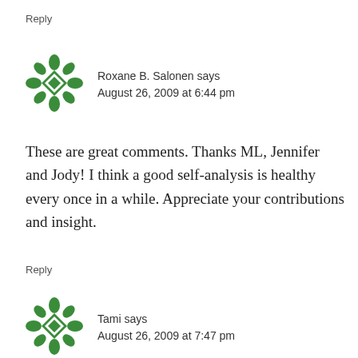Reply
Roxane B. Salonen says
August 26, 2009 at 6:44 pm
These are great comments. Thanks ML, Jennifer and Jody! I think a good self-analysis is healthy every once in a while. Appreciate your contributions and insight.
Reply
Tami says
August 26, 2009 at 7:47 pm